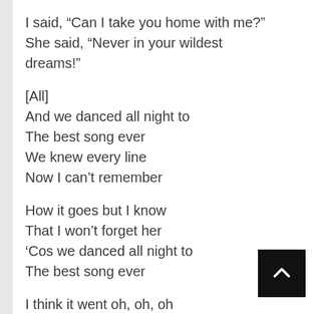I said, “Can I take you home with me?” She said, “Never in your wildest dreams!”
[All]
And we danced all night to
The best song ever
We knew every line
Now I can’t remember
How it goes but I know
That I won’t forget her
‘Cos we danced all night to
The best song ever
I think it went oh, oh, oh
I think it went yeah, yeah, yeah